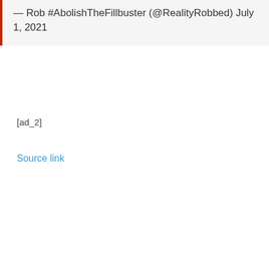— Rob #AbolishTheFillbuster (@RealityRobbed) July 1, 2021
[ad_2]
Source link